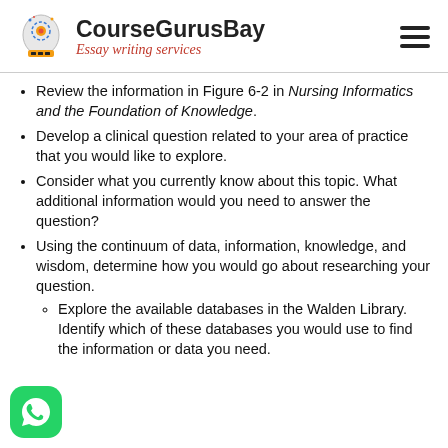CourseGurusBay — Essay writing services
Review the information in Figure 6-2 in Nursing Informatics and the Foundation of Knowledge.
Develop a clinical question related to your area of practice that you would like to explore.
Consider what you currently know about this topic. What additional information would you need to answer the question?
Using the continuum of data, information, knowledge, and wisdom, determine how you would go about researching your question.
Explore the available databases in the Walden Library. Identify which of these databases you would use to find the information or data you need.